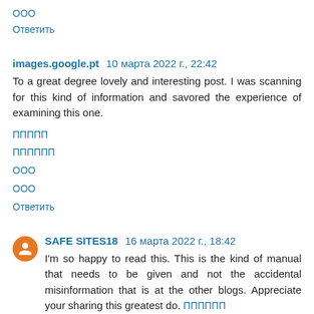ООО
Ответить
images.google.pt 10 марта 2022 г., 22:42
To a great degree lovely and interesting post. I was scanning for this kind of information and savored the experience of examining this one.
ППППП
ПППППП
ООО
ООО
Ответить
SAFE SITES18 16 марта 2022 г., 18:42
I'm so happy to read this. This is the kind of manual that needs to be given and not the accidental misinformation that is at the other blogs. Appreciate your sharing this greatest do. ПППППП